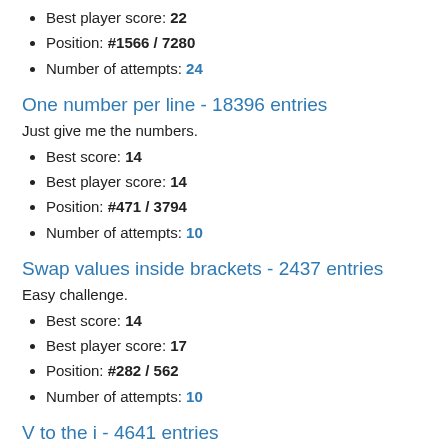Best player score: 22
Position: #1566 / 7280
Number of attempts: 24
One number per line - 18396 entries
Just give me the numbers.
Best score: 14
Best player score: 14
Position: #471 / 3794
Number of attempts: 10
Swap values inside brackets - 2437 entries
Easy challenge.
Best score: 14
Best player score: 17
Position: #282 / 562
Number of attempts: 10
V to the i - 4641 entries